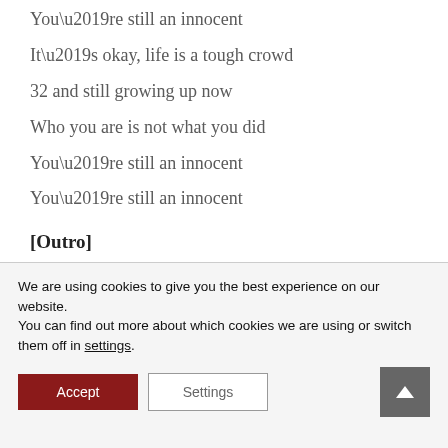You’re still an innocent
It’s okay, life is a tough crowd
32 and still growing up now
Who you are is not what you did
You’re still an innocent
You’re still an innocent
[Outro]
Lost your balance on the tight rope
It’s never too late to get it back
We are using cookies to give you the best experience on our website.
You can find out more about which cookies we are using or switch them off in settings.
Accept  Settings